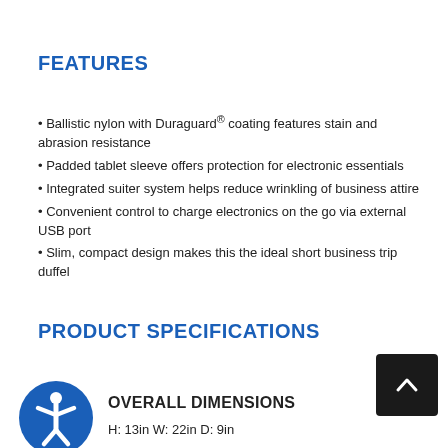FEATURES
Ballistic nylon with Duraguard® coating features stain and abrasion resistance
Padded tablet sleeve offers protection for electronic essentials
Integrated suiter system helps reduce wrinkling of business attire
Convenient control to charge electronics on the go via external USB port
Slim, compact design makes this the ideal short business trip duffel
PRODUCT SPECIFICATIONS
OVERALL DIMENSIONS
H: 13in W: 22in D: 9in